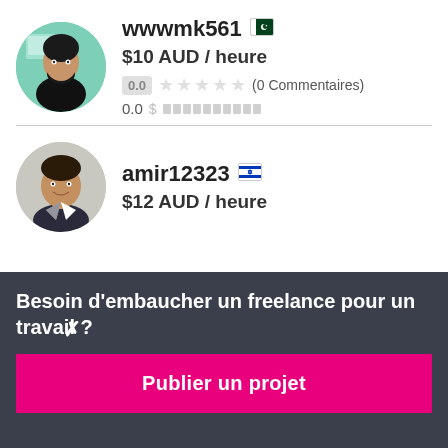[Figure (photo): Avatar photo of user wwwmk561 showing a man in black shirt against teal background]
wwwmk561 🇵🇰
$10 AUD / heure
0.0 ★★★★★ (0 Commentaires)
0.0 $ ▓▓▓▓▓▓▓▓▓▓
[Figure (photo): Avatar photo of user amir12323 showing a smiling man in suit]
amir12323 🇮🇱
$12 AUD / heure
Besoin d'embaucher un freelance pour un travail ?
Publier un projet